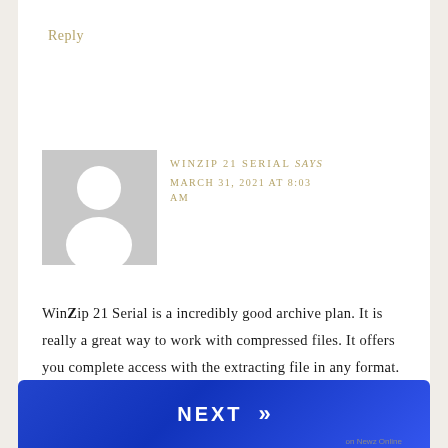Reply
[Figure (illustration): Default user avatar placeholder — grey square with white silhouette of a person (head circle and shoulders)]
WINZIP 21 SERIAL says
MARCH 31, 2021 AT 8:03 AM
WinZip 21 Serial is a incredibly good archive plan. It is really a great way to work with compressed files. It offers you complete access with the extracting file in any format. WINZIP is gold sta[ndard…] les you to defin[e…] sh
[Figure (other): Blue NEXT button with double right-arrow chevron]